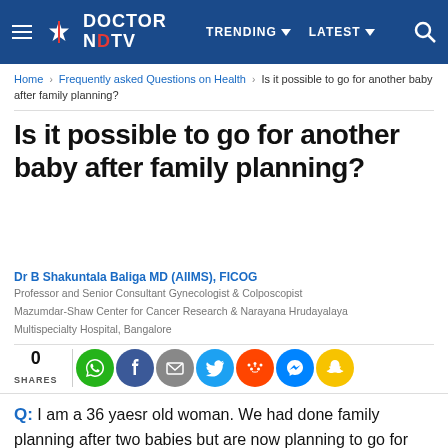DOCTOR NDTV | TRENDING | LATEST
Home > Frequently asked Questions on Health > Is it possible to go for another baby after family planning?
Is it possible to go for another baby after family planning?
Dr B Shakuntala Baliga MD (AIIMS), FICOG
Professor and Senior Consultant Gynecologist & Colposcopist
Mazumdar-Shaw Center for Cancer Research & Narayana Hrudayalaya Multispecialty Hospital, Bangalore
0 SHARES
Q: I am a 36 yaesr old woman. We had done family planning after two babies but are now planning to go for another baby. Is it possible to go for another